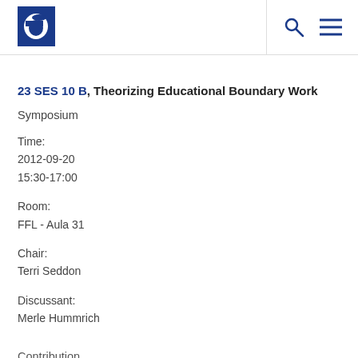EERA logo with search and menu icons
23 SES 10 B, Theorizing Educational Boundary Work
Symposium
Time:
2012-09-20
15:30-17:00
Room:
FFL - Aula 31
Chair:
Terri Seddon
Discussant:
Merle Hummrich
Contribution